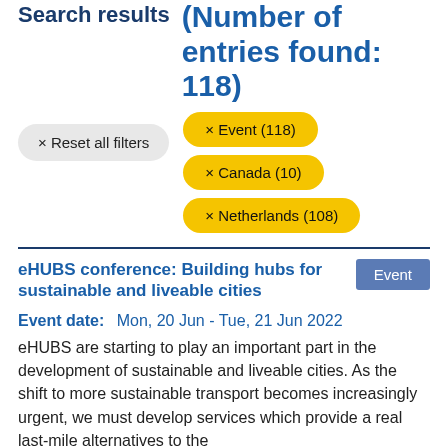Search results (Number of entries found: 118)
× Reset all filters
× Event (118)
× Canada (10)
× Netherlands (108)
eHUBS conference: Building hubs for sustainable and liveable cities
Event
Event date:  Mon, 20 Jun - Tue, 21 Jun 2022
eHUBS are starting to play an important part in the development of sustainable and liveable cities. As the shift to more sustainable transport becomes increasingly urgent, we must develop services which provide a real last-mile alternatives to the